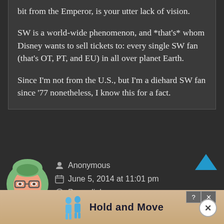bit from the Emperor, is your utter lack of vision.

SW is a world-wide phenomenon, and *that's* whom Disney wants to sell tickets to: every single SW fan (that's OT, PT, and EU) in all over planet Earth.

Since I'm not from the U.S., but I'm a diehard SW fan since '77 nonetheless, I know this for a fact.
Anonymous
June 5, 2014 at 11:01 pm
Permalink
[Figure (illustration): Cartoon avatar of a character with glasses and a green hood, looking disgruntled]
[Figure (illustration): Up arrow chevron icon in blue/teal color]
[Figure (screenshot): Advertisement banner showing 'Hold and Move' with cartoon people figures icons, help and close buttons]